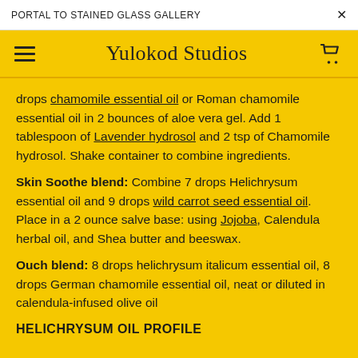PORTAL TO STAINED GLASS GALLERY   X
Yulokod Studios
drops chamomile essential oil or Roman chamomile essential oil in 2 bounces of aloe vera gel. Add 1 tablespoon of Lavender hydrosol and 2 tsp of Chamomile hydrosol. Shake container to combine ingredients.
Skin Soothe blend: Combine 7 drops Helichrysum essential oil and 9 drops wild carrot seed essential oil. Place in a 2 ounce salve base: using Jojoba, Calendula herbal oil, and Shea butter and beeswax.
Ouch blend: 8 drops helichrysum italicum essential oil, 8 drops German chamomile essential oil, neat or diluted in calendula-infused olive oil
HELICHRYSUM OIL PROFILE